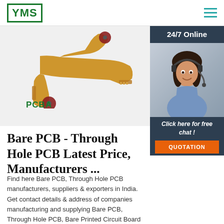[Figure (logo): YMS logo in green bordered box]
[Figure (photo): Flexible PCB circuit board components on white background with PCBA label]
[Figure (photo): Customer service representative with headset, 24/7 Online sidebar with Click here for free chat and QUOTATION button]
Bare PCB - Through Hole PCB Latest Price, Manufacturers ...
Find here Bare PCB, Through Hole PCB manufacturers, suppliers & exporters in India. Get contact details & address of companies manufacturing and supplying Bare PCB, Through Hole PCB, Bare Printed Circuit Board across India.